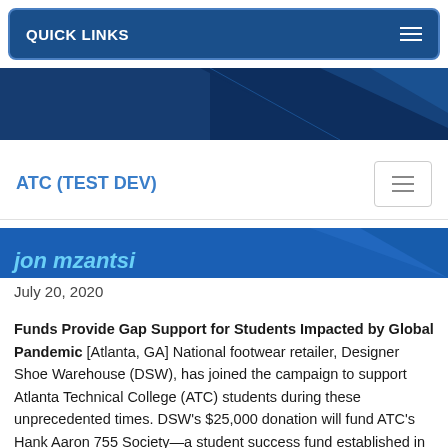QUICK LINKS
[Figure (screenshot): Dark blue decorative banner with geometric triangle shapes]
ATC (TEST DEV)
Jon Mzantsi (partial, italic, partially visible)
July 20, 2020
Funds Provide Gap Support for Students Impacted by Global Pandemic [Atlanta, GA] National footwear retailer, Designer Shoe Warehouse (DSW), has joined the campaign to support Atlanta Technical College (ATC) students during these unprecedented times. DSW's $25,000 donation will fund ATC's Hank Aaron 755 Society—a student success fund established in February 2020 to